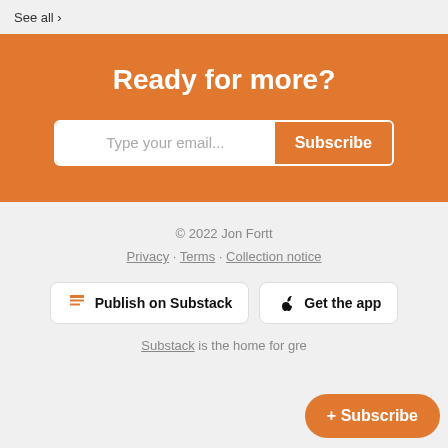See all >
Ready for more?
Type your email... Subscribe
© 2022 Jon Fortt
Privacy · Terms · Collection notice
Publish on Substack
Get the app
Substack is the home for gre
+ Subscribe